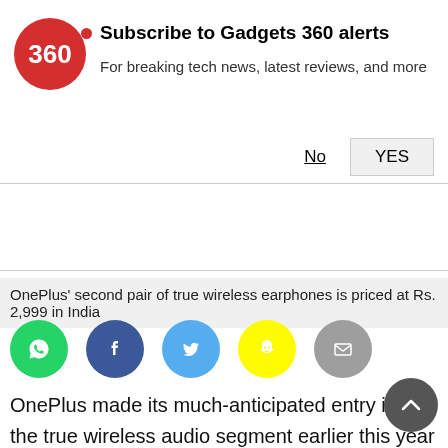[Figure (logo): Gadgets 360 logo - red circle with '360' text]
Subscribe to Gadgets 360 alerts
For breaking tech news, latest reviews, and more
No   YES
OnePlus' second pair of true wireless earphones is priced at Rs. 2,999 in India
[Figure (illustration): Social media share icons: WhatsApp, Facebook, Twitter, Snapchat, Email]
OnePlus made its much-anticipated entry into the true wireless audio segment earlier this year with the OnePlus Buds. Although affordably priced and very good-looking, I didn't find the company's first true wireless earphones compelling enough to recommend over some of the excellent competing options that are also available, in my review. Interestingly enough, the